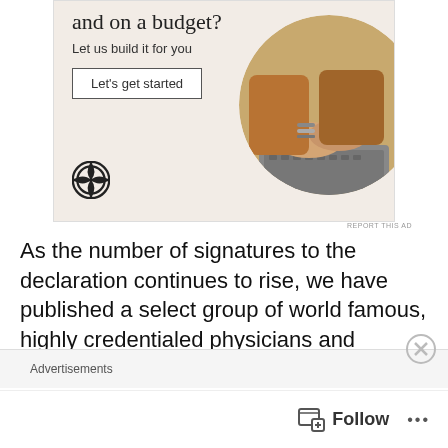[Figure (illustration): Advertisement banner with beige/cream background showing partial text 'and on a budget?', subtitle 'Let us build it for you', a 'Let's get started' button, WordPress logo icon, and a circular photo of person typing on laptop wearing brown sweater and bracelets.]
REPORT THIS AD
As the number of signatures to the declaration continues to rise, we have published a select group of world famous, highly credentialed physicians and scientists who authored the
declaration. Many other doctors who have spoken out
Advertisements
[Figure (other): Follow button bar with icon and ellipsis menu]